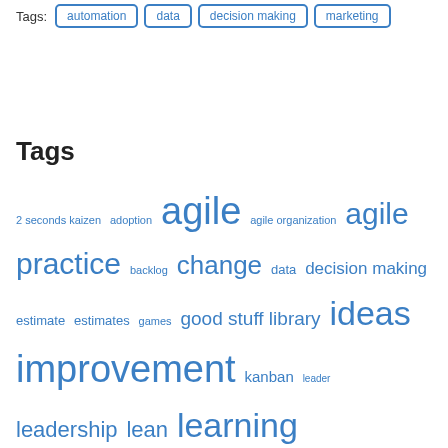Tags: automation  data  decision making  marketing
Tags
2 seconds kaizen  adoption  agile  agile organization  agile practice  backlog  change  data  decision making  estimate  estimates  games  good stuff library  ideas  improvement  kanban  leader  leadership  lean  learning  management  manager  metrics  motivation  network  network organization  notes  organisation  people  PMP  practice  principles  problem  process  product  product owner  project  scope  questions